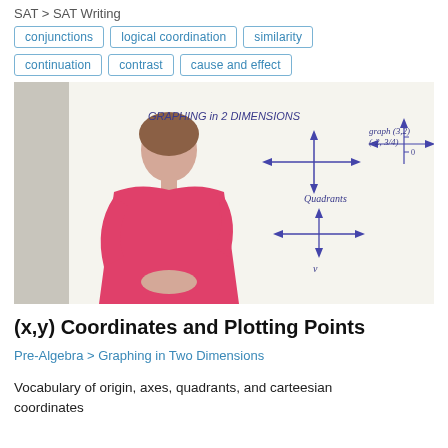SAT > SAT Writing
conjunctions
logical coordination
similarity
continuation
contrast
cause and effect
[Figure (photo): A woman in a pink top standing in front of a whiteboard. The whiteboard shows handwritten text: 'Graphing in 2 Dimensions', coordinate axes, 'graph (3,2)', '(-2, 3/4)', 'Quadrants', and additional coordinate axis diagrams.]
(x,y) Coordinates and Plotting Points
Pre-Algebra > Graphing in Two Dimensions
Vocabulary of origin, axes, quadrants, and carteesian coordinates